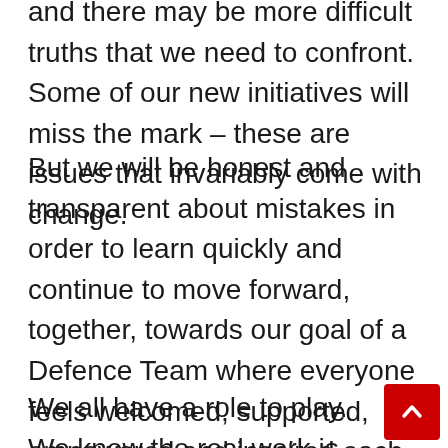and there may be more difficult truths that we need to confront. Some of our new initiatives will miss the mark – these are issues that invariably come with change.
But we will be honest and transparent about mistakes in order to learn quickly and continue to move forward, together, towards our goal of a Defence Team where everyone feels welcomed, supported, empowered and inspired each and every day.
We all have a role to play. We know the real work is realizing transformative change that runs deep – to our very foundations – and